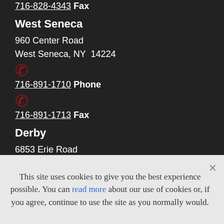716-828-4343 Fax
West Seneca
960 Center Road
West Seneca, NY  14224
☎
716-891-1710 Phone
☎
716-891-1713 Fax
Derby
6853 Erie Road
This site uses cookies to give you the best experience possible. You can read more about our use of cookies or, if you agree, continue to use the site as you normally would.